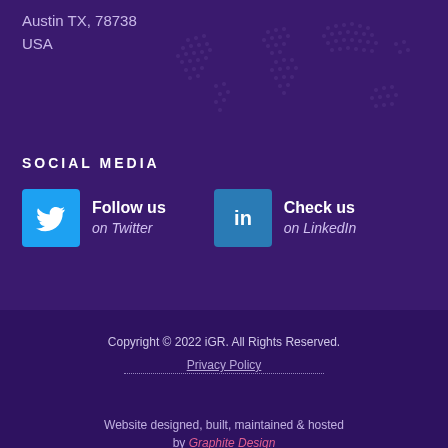Austin TX, 78738
USA
SOCIAL MEDIA
Follow us on Twitter
Check us on LinkedIn
Copyright © 2022 iGR. All Rights Reserved.
Privacy Policy
Website designed, built, maintained & hosted by Graphite Design